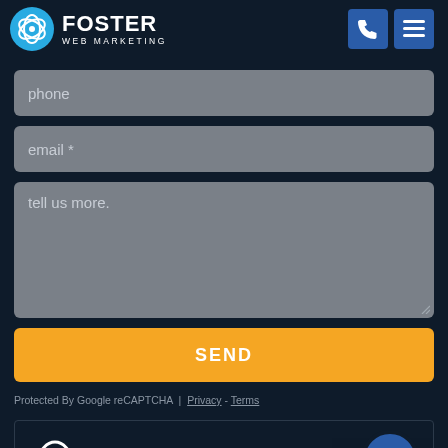[Figure (logo): Foster Web Marketing logo with blue circular atom icon and white text]
phone
email *
tell us more.
SEND
Protected By Google reCAPTCHA | Privacy - Terms
CLIENT SUPPORT